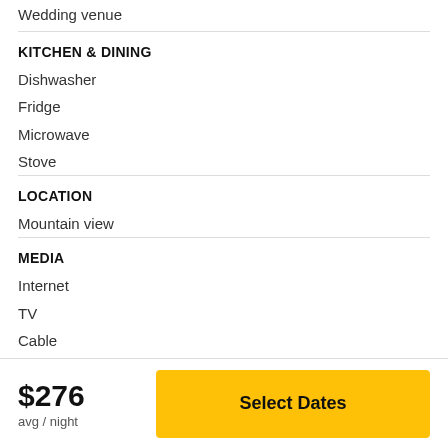Wedding venue
KITCHEN & DINING
Dishwasher
Fridge
Microwave
Stove
LOCATION
Mountain view
MEDIA
Internet
TV
Cable
DVD player
$276 avg / night
Select Dates